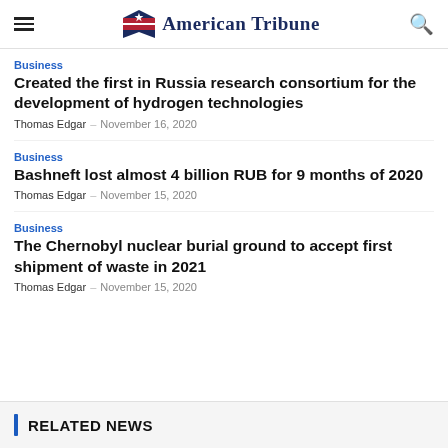American Tribune
Business
Created the first in Russia research consortium for the development of hydrogen technologies
Thomas Edgar - November 16, 2020
Business
Bashneft lost almost 4 billion RUB for 9 months of 2020
Thomas Edgar - November 15, 2020
Business
The Chernobyl nuclear burial ground to accept first shipment of waste in 2021
Thomas Edgar - November 15, 2020
RELATED NEWS